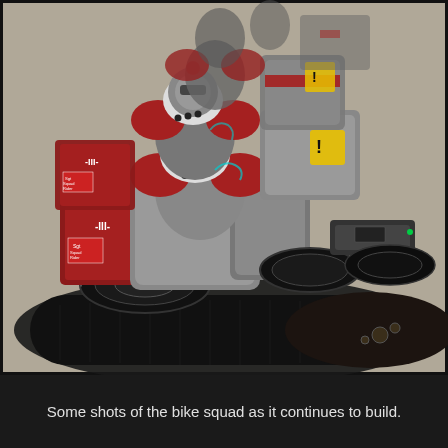[Figure (photo): Photograph of several Warhammer 40K Space Marine bike squad miniatures painted in red and silver/grey colors, lined up diagonally receding into the background. The bikes are heavily detailed with squad markings, chapter insignia, and weathering. They sit on black oval bases on a grey surface.]
Some shots of the bike squad as it continues to build.